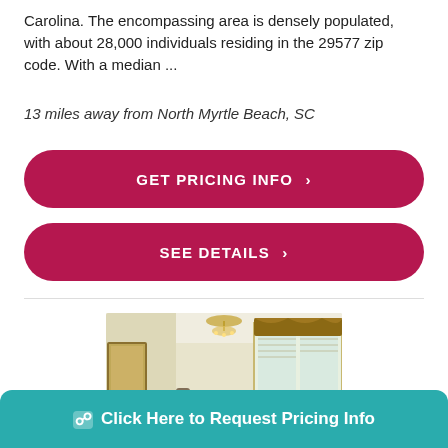Carolina. The encompassing area is densely populated, with about 28,000 individuals residing in the 29577 zip code. With a median ...
13 miles away from North Myrtle Beach, SC
GET PRICING INFO ›
SEE DETAILS ›
[Figure (photo): Interior dining room of a senior living facility with a chandelier, formal dining table with chairs, orange centerpieces, and large windows with draped curtains]
Click Here to Request Pricing Info